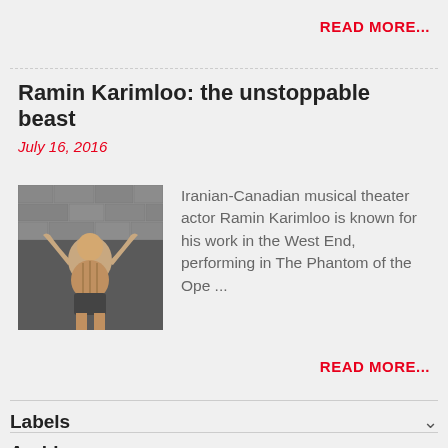READ MORE...
Ramin Karimloo: the unstoppable beast
July 16, 2016
[Figure (photo): Photo of Ramin Karimloo, a muscular man with arms raised in a dynamic action pose against a stone wall background]
Iranian-Canadian musical theater actor Ramin Karimloo is known for his work in the West End, performing in The Phantom of the Ope...
READ MORE...
Labels
Archive